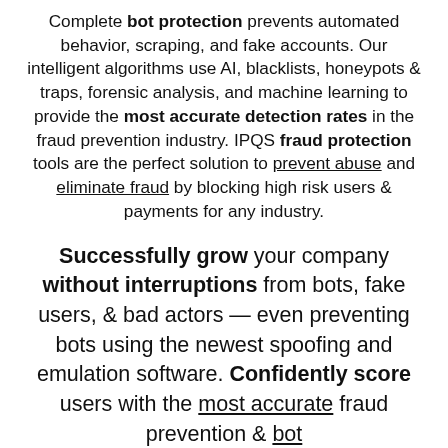Complete bot protection prevents automated behavior, scraping, and fake accounts. Our intelligent algorithms use AI, blacklists, honeypots & traps, forensic analysis, and machine learning to provide the most accurate detection rates in the fraud prevention industry. IPQS fraud protection tools are the perfect solution to prevent abuse and eliminate fraud by blocking high risk users & payments for any industry.
Successfully grow your company without interruptions from bots, fake users, & bad actors — even preventing bots using the newest spoofing and emulation software. Confidently score users with the most accurate fraud prevention & bot